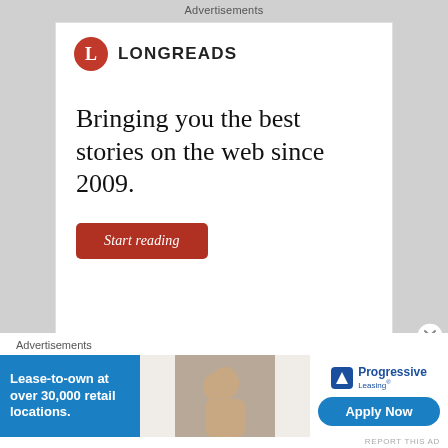Advertisements
[Figure (other): Longreads advertisement with red circle logo, tagline 'Bringing you the best stories on the web since 2009.' and a red 'Start reading' button.]
REPORT THIS AD
We remember generations only by their most recent deeds, not by their earlier ones.  In their youth, GIs, too, were regarded as spoiled troublemakers with shallow values.  Youthful GIs protested during the Depression and
Advertisements
[Figure (other): Progressive Leasing advertisement: 'Lease-to-own at over 30,000 retail locations.' with couple photo and 'Apply Now' button.]